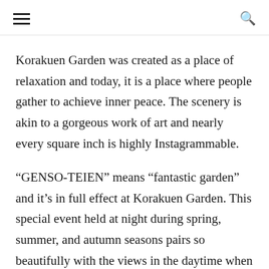[hamburger menu icon] [search icon]
Korakuen Garden was created as a place of relaxation and today, it is a place where people gather to achieve inner peace. The scenery is akin to a gorgeous work of art and nearly every square inch is highly Instagrammable.
“GENSO-TEIEN” means “fantastic garden” and it’s in full effect at Korakuen Garden. This special event held at night during spring, summer, and autumn seasons pairs so beautifully with the views in the daytime when pink cherry blossoms in spring are in full bloom and the crisp stark colors of fall foliage including azaleas and verdant grass cut impressive figures in the sunshine as a gorgeous contrast to the illuminations at night. Here, you can take part in a tea ceremony, a Japanese flower